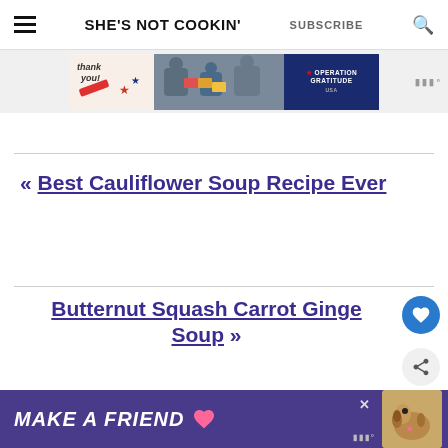SHE'S NOT COOKIN' | SUBSCRIBE
[Figure (photo): Advertisement banner showing Operation Gratitude with thank you cards and military personnel]
« Best Cauliflower Soup Recipe Ever
Butternut Squash Carrot Ginger Soup »
[Figure (photo): Bottom advertisement banner reading MAKE A FRIEND with a dog image]